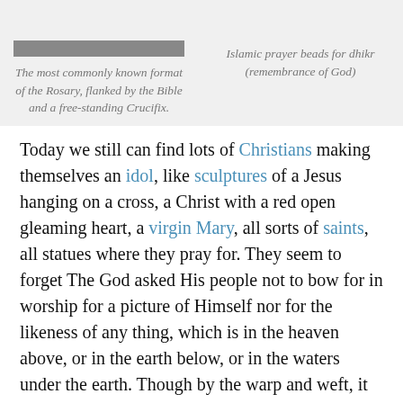The most commonly known format of the Rosary, flanked by the Bible and a free-standing Crucifix.
Islamic prayer beads for dhikr (remembrance of God)
Today we still can find lots of Christians making themselves an idol, like sculptures of a Jesus hanging on a cross, a Christ with a red open gleaming heart, a virgin Mary, all sorts of saints, all statues where they pray for. They seem to forget The God asked His people not to bow for in worship for a picture of Himself nor for the likeness of any thing, which is in the heaven above, or in the earth below, or in the waters under the earth. Though by the warp and weft, it is for many the order of the day to burn candles or to pray in